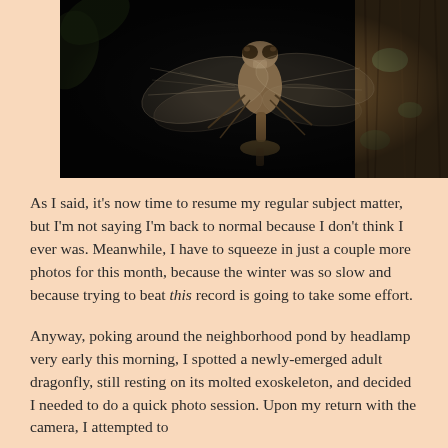[Figure (photo): Close-up macro photograph of a newly-emerged adult dragonfly clinging to tree bark in darkness, with translucent wings visible and out-of-focus green leaves in the background.]
As I said, it's now time to resume my regular subject matter, but I'm not saying I'm back to normal because I don't think I ever was. Meanwhile, I have to squeeze in just a couple more photos for this month, because the winter was so slow and because trying to beat this record is going to take some effort.
Anyway, poking around the neighborhood pond by headlamp very early this morning, I spotted a newly-emerged adult dragonfly, still resting on its molted exoskeleton, and decided I needed to do a quick photo session. Upon my return with the camera, I attempted to